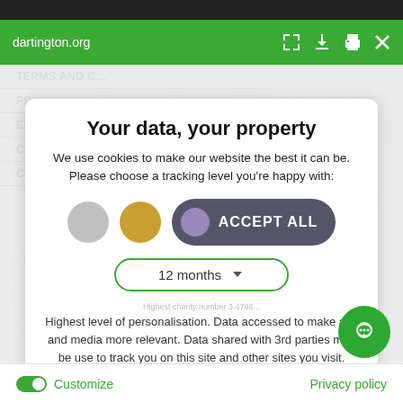dartington.org
Your data, your property
We use cookies to make our website the best it can be. Please choose a tracking level you're happy with:
[Figure (screenshot): Three toggle/button controls: a gray circle toggle, a gold/yellow circle toggle, and an 'ACCEPT ALL' pill button with a purple toggle dot on dark gray background]
12 months
Highest level of personalisation. Data accessed to make ads and media more relevant. Data shared with 3rd parties may be use to track you on this site and other sites you visit.
Save my preferences
Customize
Privacy policy